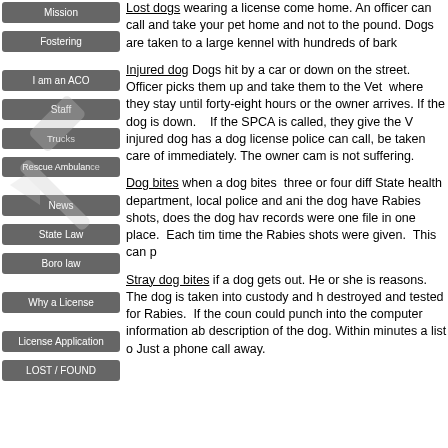Mission
Fostering
I am an ACO
Staff
Trucks
Rescue Ambulance
News
State Law
Boro law
Why a License
License Application
LOST / FOUND
Lost dogs wearing a license come home. An officer can call and take your pet home and not to the pound. Dogs are taken to a large kennel with hundreds of barking
Injured dog Dogs hit by a car or down on the street. Officer picks them up and take them to the Vet where they stay until forty-eight hours or the owner arrives. If the dog is down.   If the SPCA is called, they give the Vet money If injured dog has a dog license police can call, dog will be taken care of immediately. The owner can be sure the dog is not suffering.
Dog bites when a dog bites  three or four different people: State health department, local police and animal control. Does the dog have Rabies shots, does the dog have a license records were one file in one place.  Each time the same time the Rabies shots were given.  This can p
Stray dog bites if a dog gets out. He or she is stray for reasons. The dog is taken into custody and has to be destroyed and tested for Rabies.  If the county officer could punch into the computer information about the description of the dog. Within minutes a list of Just a phone call away.